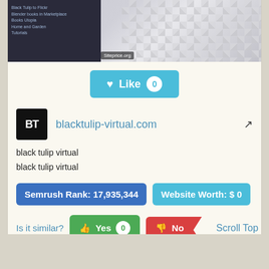[Figure (screenshot): Screenshot of blacktulip-virtual.com website with dark left panel and checkerboard pattern on right, with siteprice.org badge]
♥ Like 0
BT  blacktulip-virtual.com
black tulip virtual
black tulip virtual
Semrush Rank: 17,935,344
Website Worth: $ 0
Is it similar?  👍 Yes 0   👎 No   Scroll Top